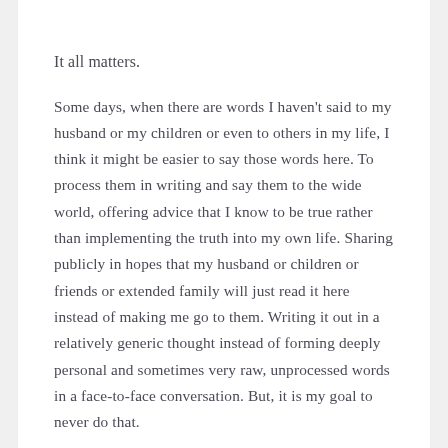It all matters.
Some days, when there are words I haven't said to my husband or my children or even to others in my life, I think it might be easier to say those words here. To process them in writing and say them to the wide world, offering advice that I know to be true rather than implementing the truth into my own life. Sharing publicly in hopes that my husband or children or friends or extended family will just read it here instead of making me go to them. Writing it out in a relatively generic thought instead of forming deeply personal and sometimes very raw, unprocessed words in a face-to-face conversation. But, it is my goal to never do that.
So, instead of leaving you with examples of saying the